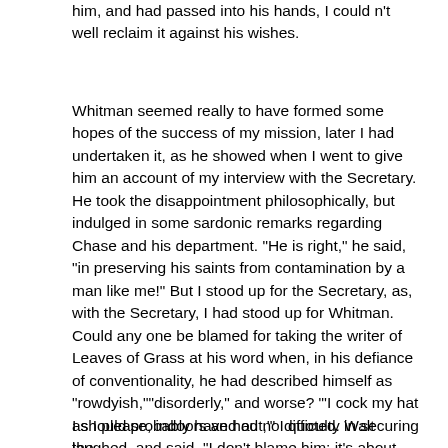him, and had passed into his hands, I could n't well reclaim it against his wishes.
Whitman seemed really to have formed some hopes of the success of my mission, later I had undertaken it, as he showed when I went to give him an account of my interview with the Secretary. He took the disappointment philosophically, but indulged in some sardonic remarks regarding Chase and his department. "He is right," he said, "in preserving his saints from contamination by a man like me!" But I stood up for the Secretary, as, with the Secretary, I had stood up for Whitman. Could any one be blamed for taking the writer of Leaves of Grass at his word when, in his defiance of conventionality, he had described himself as "rowdyish,""disorderly," and worse? "'I cock my hat as I please, indoors and out,'" I quoted. Walt laughed, and said, "I don't blame him; it's about what I expected." He asked for the letter, and showed his amused disgust when I explained how it had been pocketed by the Secretary.
I should probably have had no difficulty in securing the